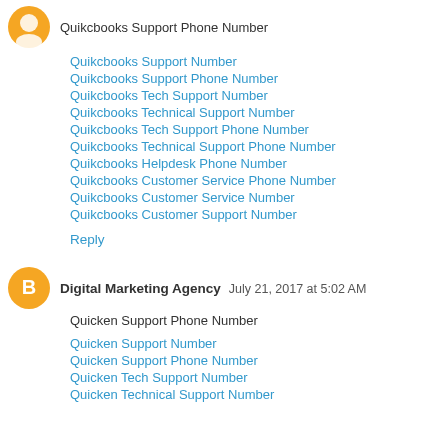Quikcbooks Support Phone Number
Quikcbooks Support Number
Quikcbooks Support Phone Number
Quikcbooks Tech Support Number
Quikcbooks Technical Support Number
Quikcbooks Tech Support Phone Number
Quikcbooks Technical Support Phone Number
Quikcbooks Helpdesk Phone Number
Quikcbooks Customer Service Phone Number
Quikcbooks Customer Service Number
Quikcbooks Customer Support Number
Reply
Digital Marketing Agency  July 21, 2017 at 5:02 AM
Quicken Support Phone Number
Quicken Support Number
Quicken Support Phone Number
Quicken Tech Support Number
Quicken Technical Support Number